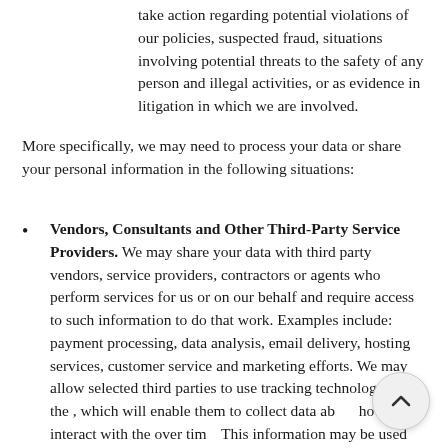take action regarding potential violations of our policies, suspected fraud, situations involving potential threats to the safety of any person and illegal activities, or as evidence in litigation in which we are involved.
More specifically, we may need to process your data or share your personal information in the following situations:
Vendors, Consultants and Other Third-Party Service Providers. We may share your data with third party vendors, service providers, contractors or agents who perform services for us or on our behalf and require access to such information to do that work. Examples include: payment processing, data analysis, email delivery, hosting services, customer service and marketing efforts. We may allow selected third parties to use tracking technology on the , which will enable them to collect data about how you interact with the over time. This information may be used to, among other things, analyze and track data,